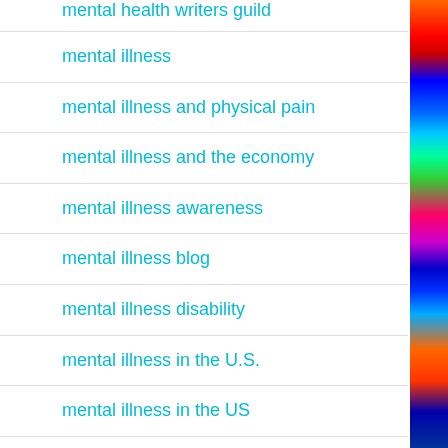mental health writers guild
mental illness
mental illness and physical pain
mental illness and the economy
mental illness awareness
mental illness blog
mental illness disability
mental illness in the U.S.
mental illness in the US